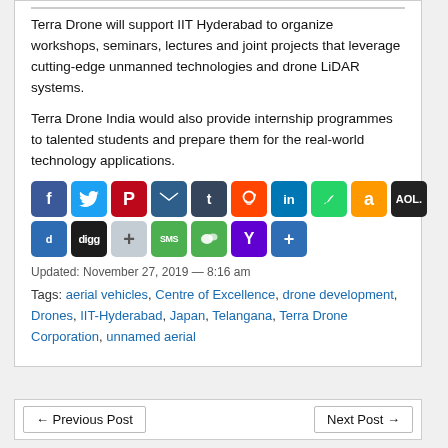Terra Drone will support IIT Hyderabad to organize workshops, seminars, lectures and joint projects that leverage cutting-edge unmanned technologies and drone LiDAR systems.

Terra Drone India would also provide internship programmes to talented students and prepare them for the real-world technology applications.
[Figure (infographic): Social share buttons: Facebook, Twitter, Pinterest, Email, Tumblr, Reddit, LinkedIn, WhatsApp, Amazon, AOL, Diigo, Digg, AddThis, SMS, WeChat, Yahoo, Share+]
Updated: November 27, 2019 — 8:16 am
Tags: aerial vehicles, Centre of Excellence, drone development, Drones, IIT-Hyderabad, Japan, Telangana, Terra Drone Corporation, unnamed aerial
← Previous Post    Next Post →